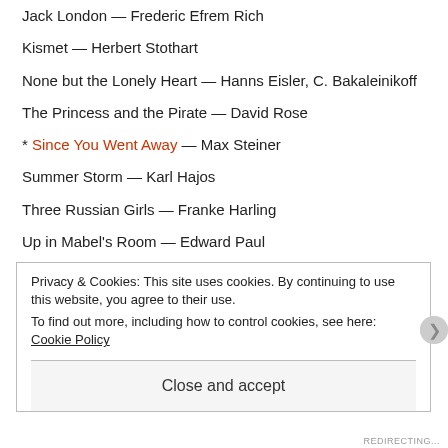Jack London — Frederic Efrem Rich
Kismet — Herbert Stothart
None but the Lonely Heart — Hanns Eisler, C. Bakaleinikoff
The Princess and the Pirate — David Rose
* Since You Went Away — Max Steiner
Summer Storm — Karl Hajos
Three Russian Girls — Franke Harling
Up in Mabel's Room — Edward Paul
Voice in the Wind — Michel Michelet
Wilson — Alfred Newman
Privacy & Cookies: This site uses cookies. By continuing to use this website, you agree to their use. To find out more, including how to control cookies, see here: Cookie Policy
Close and accept